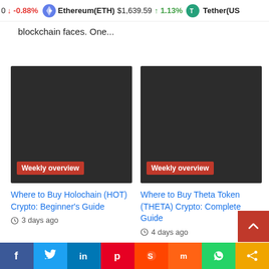0 ↓ -0.88%   Ethereum(ETH) $1,639.59 ↑ 1.13%   Tether(US…
blockchain faces. One...
[Figure (screenshot): Dark thumbnail image with red 'Weekly overview' badge at bottom left]
Where to Buy Holochain (HOT) Crypto: Beginner's Guide
3 days ago
[Figure (screenshot): Dark thumbnail image with red 'Weekly overview' badge at bottom left]
Where to Buy Theta Token (THETA) Crypto: Complete Guide
4 days ago
Social share bar: Facebook, Twitter, LinkedIn, Pinterest, Reddit, Mix, WhatsApp, Share